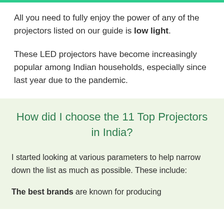All you need to fully enjoy the power of any of the projectors listed on our guide is low light.
These LED projectors have become increasingly popular among Indian households, especially since last year due to the pandemic.
How did I choose the 11 Top Projectors in India?
I started looking at various parameters to help narrow down the list as much as possible. These include:
The best brands are known for producing